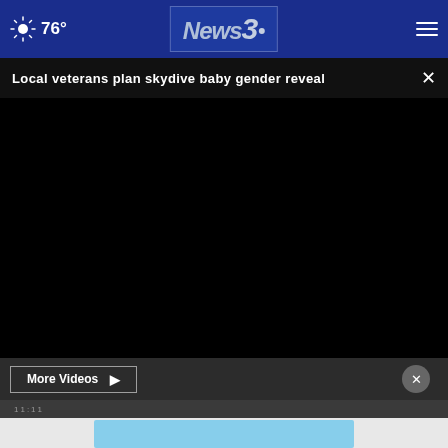76° News3
Local veterans plan skydive baby gender reveal
[Figure (screenshot): Black video player area embedded in news website]
More Videos ▶
11:11